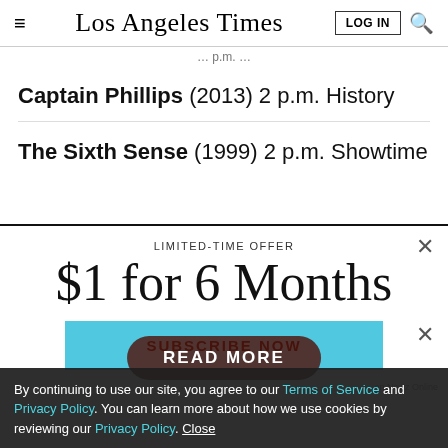Los Angeles Times
Captain Phillips (2013) 2 p.m. History
The Sixth Sense (1999) 2 p.m. Showtime
LIMITED-TIME OFFER
$1 for 6 Months
SUBSCRIBE NOW
By continuing to use our site, you agree to our Terms of Service and Privacy Policy. You can learn more about how we use cookies by reviewing our Privacy Policy. Close